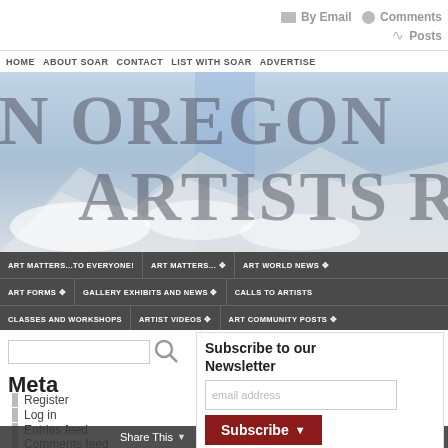By Email  Comments  Posts
HOME  ABOUT SOAR  CONTACT  LIST WITH SOAR  ADVERTISE
[Figure (screenshot): Oregon Artists website banner with large serif text 'OREGON ARTISTS' overlaid on a mountain/cloud landscape background]
ART MATTERS...TO EVERYONE!  ART MATTERS... ❧  ART WORLD NEWS ❧  ART FORMS ❧  GALLERY EXHIBITS AND NEWS ❧  CALLS TO ARTISTS  CLASSES AND WORKSHOPS  ARTIST VIDEOS ❧  ART COMMUNITY POSTS ❧
Meta
Register
Log in
Entries feed
Comments feed
«Home
2019 Masterpiece for Chris
Ashla
Farts
Fride
Advent
Subscribe to our Newsletter
email address
Subscribe
Share This